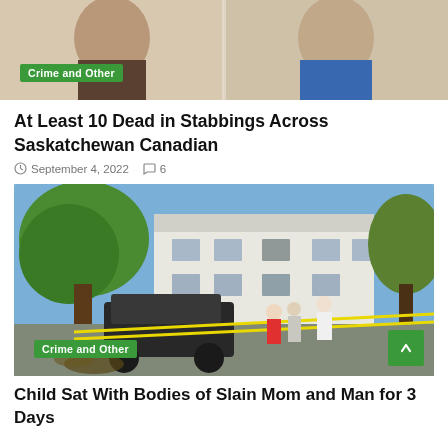[Figure (photo): Mugshot-style photo of two young men, cropped at chin level, side by side against a light background. Left person wears dark clothing, right person wears blue shirt.]
Crime and Other
At Least 10 Dead in Stabbings Across Saskatchewan Canadian
September 4, 2022  6
[Figure (photo): Outdoor crime scene photo showing a two-story white residential building with yellow police tape strung across the area. Several people including investigators stand near a dark SUV in the driveway. Trees visible in background and foreground.]
Crime and Other
Child Sat With Bodies of Slain Mom and Man for 3 Days